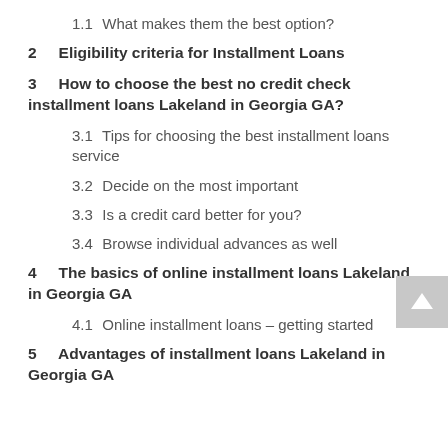1.1  What makes them the best option?
2  Eligibility criteria for Installment Loans
3  How to choose the best no credit check installment loans Lakeland in Georgia GA?
3.1  Tips for choosing the best installment loans service
3.2  Decide on the most important
3.3  Is a credit card better for you?
3.4  Browse individual advances as well
4  The basics of online installment loans Lakeland in Georgia GA
4.1  Online installment loans – getting started
5  Advantages of installment loans Lakeland in Georgia GA